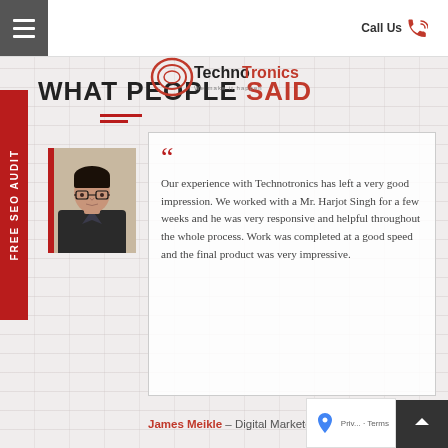TechnoTronics – We make it happen | Call Us
WHAT PEOPLE SAID
[Figure (photo): Vertical red side tab with text FREE SEO AUDIT]
[Figure (photo): Photo of a young man wearing glasses, the testimonial person James Meikle]
Our experience with Technotronics has left a very good impression. We worked with a Mr. Harjot Singh for a few weeks and he was very responsive and helpful throughout the whole process. Work was completed at a good speed and the final product was very impressive.
James Meikle – Digital Marketer